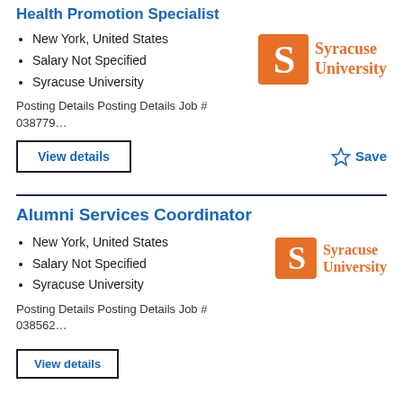Health Promotion Specialist
New York, United States
Salary Not Specified
Syracuse University
Posting Details Posting Details Job # 038779…
[Figure (logo): Syracuse University logo with orange S and orange text]
View details
Save
Alumni Services Coordinator
New York, United States
Salary Not Specified
Syracuse University
Posting Details Posting Details Job # 038562…
[Figure (logo): Syracuse University logo with orange S and orange text]